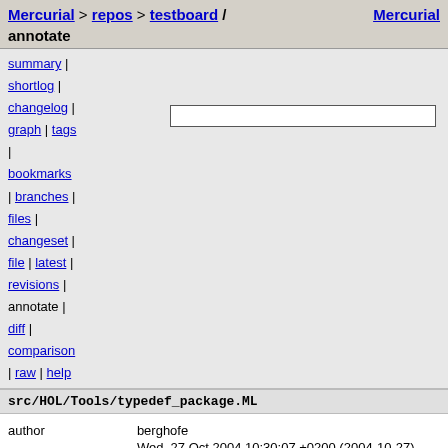Mercurial > repos > testboard / annotate   Mercurial
summary |
shortlog |
changelog |
graph | tags
|
bookmarks
| branches |
files |
changeset |
file | latest |
revisions |
annotate |
diff |
comparison
| raw | help
src/HOL/Tools/typedef_package.ML
| field | value |
| --- | --- |
| author | berghofe |
|  | Wed, 27 Oct 2004 10:30:07 +0200 (2004-10-27) |
| changeset 15265 | a1547232fedd |
| parent 15259 | 6aa593317905 |
| child 15457 | 1fbd4aba46e3 |
| permissions | -rw-r--r-- |